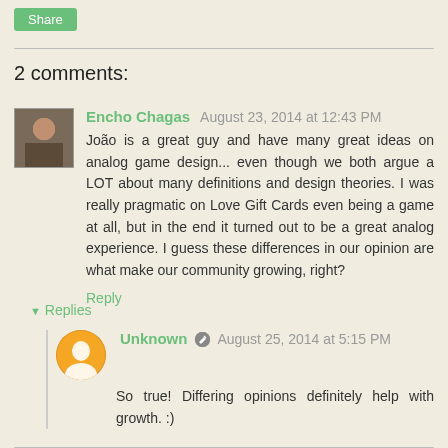Share
2 comments:
Encho Chagas  August 23, 2014 at 12:43 PM
João is a great guy and have many great ideas on analog game design... even though we both argue a LOT about many definitions and design theories. I was really pragmatic on Love Gift Cards even being a game at all, but in the end it turned out to be a great analog experience. I guess these differences in our opinion are what make our community growing, right?
Reply
▾ Replies
Unknown  August 25, 2014 at 5:15 PM
So true! Differing opinions definitely help with growth. :)